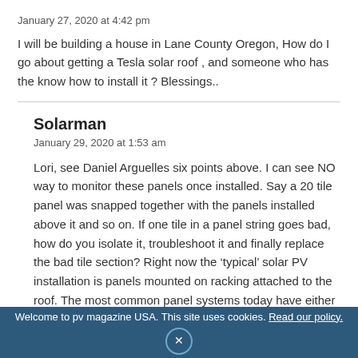January 27, 2020 at 4:42 pm
I will be building a house in Lane County Oregon, How do I go about getting a Tesla solar roof , and someone who has the know how to install it ? Blessings..
Solarman
January 29, 2020 at 1:53 am
Lori, see Daniel Arguelles six points above. I can see NO way to monitor these panels once installed. Say a 20 tile panel was snapped together with the panels installed above it and so on. If one tile in a panel string goes bad, how do you isolate it, troubleshoot it and finally replace the bad tile section? Right now the ‘typical’ solar PV installation is panels mounted on racking attached to the roof. The most common panel systems today have either a converter for each panel or a micro-inverter for each panel. The
Welcome to pv magazine USA. This site uses cookies. Read our policy.